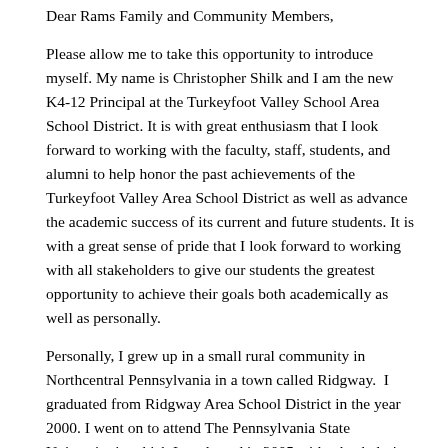Dear Rams Family and Community Members,
Please allow me to take this opportunity to introduce myself. My name is Christopher Shilk and I am the new K4-12 Principal at the Turkeyfoot Valley School Area School District. It is with great enthusiasm that I look forward to working with the faculty, staff, students, and alumni to help honor the past achievements of the Turkeyfoot Valley Area School District as well as advance the academic success of its current and future students. It is with a great sense of pride that I look forward to working with all stakeholders to give our students the greatest opportunity to achieve their goals both academically as well as personally.
Personally, I grew up in a small rural community in Northcentral Pennsylvania in a town called Ridgway.  I graduated from Ridgway Area School District in the year 2000. I went on to attend The Pennsylvania State University in which I graduated in 2005 with a bachelor's of science in Kinesiology. From there I went on to pursue my teaching certificate from Edinboro University of Pennsylvania . I received my